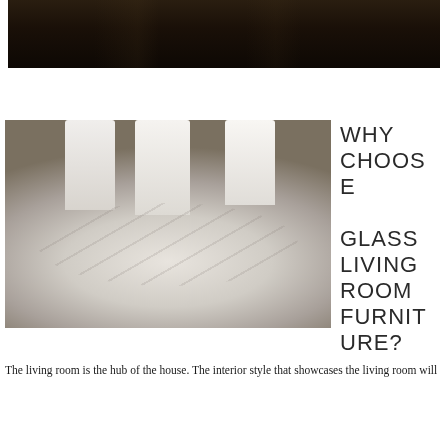[Figure (photo): Dark interior room photo, top portion cropped, showing a dimly lit room with dark wood floors and furniture silhouettes.]
[Figure (photo): A round marble-top dining table with white high-back chairs around it, photographed from above at an angle. The table has a white marble top with grey veining and a white pedestal base.]
WHY CHOOSE GLASS LIVING ROOM FURNITURE?
The living room is the hub of the house. The interior style that showcases the living room will